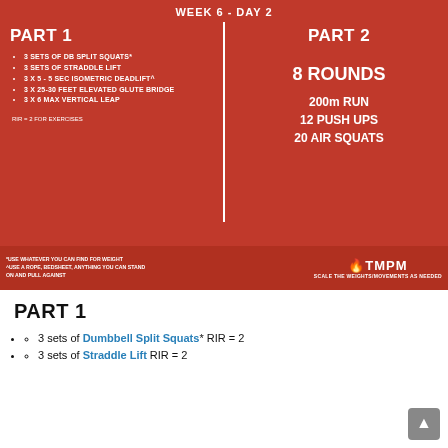WEEK 6 - DAY 2
[Figure (infographic): Red workout infographic split into two columns. Part 1 (left): list of exercises including 3 sets of DB split squats, 3 sets of straddle lift, 3x5 5 sec isometric deadlift, 3x25-30 feet elevated glute bridge, 3x6 max vertical leap. RIR=2 for exercises. Part 2 (right): 8 Rounds - 200m run, 12 push ups, 20 air squats. Footer: footnotes about weight and rope. TMPM logo. Scale the weights/movements as needed.]
PART 1
3 sets of Dumbbell Split Squats* RIR = 2
3 sets of Straddle Lift RIR = 2